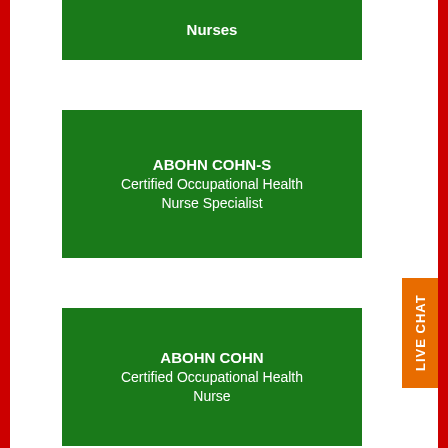[Figure (other): Green box with text 'Nurses' at the top of the page]
[Figure (other): Green box with text 'ABOHN COHN-S Certified Occupational Health Nurse Specialist']
[Figure (other): Green box with text 'ABOHN COHN Certified Occupational Health Nurse']